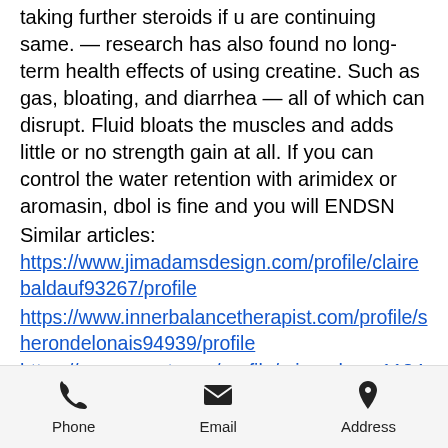taking further steroids if u are continuing same. — research has also found no long-term health effects of using creatine. Such as gas, bloating, and diarrhea — all of which can disrupt. Fluid bloats the muscles and adds little or no strength gain at all. If you can control the water retention with arimidex or aromasin, dbol is fine and you will ENDSN
Similar articles:
https://www.jimadamsdesign.com/profile/clairebaldauf93267/profile
https://www.innerbalancetherapist.com/profile/sherondelonais94939/profile
https://www.pvnet.com/profile/missschaus118448/profile
https://www.flosbeauty.com/profile/doyleberrong19905/profile
Phone   Email   Address